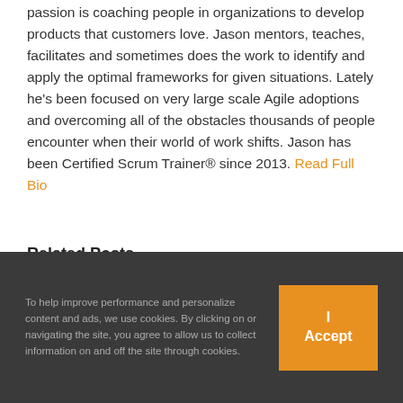passion is coaching people in organizations to develop products that customers love. Jason mentors, teaches, facilitates and sometimes does the work to identify and apply the optimal frameworks for given situations. Lately he's been focused on very large scale Agile adoptions and overcoming all of the obstacles thousands of people encounter when their world of work shifts. Jason has been Certified Scrum Trainer® since 2013. Read Full Bio
Related Posts
To help improve performance and personalize content and ads, we use cookies. By clicking on or navigating the site, you agree to allow us to collect information on and off the site through cookies.